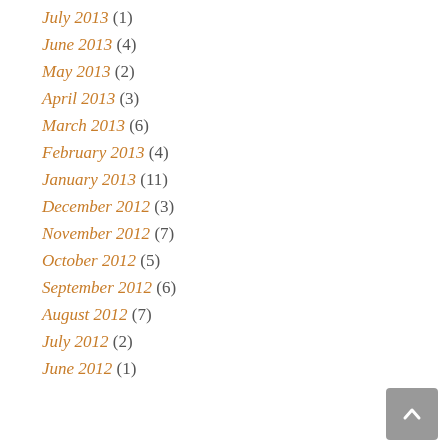September 2013 (1)
July 2013 (1)
June 2013 (4)
May 2013 (2)
April 2013 (3)
March 2013 (6)
February 2013 (4)
January 2013 (11)
December 2012 (3)
November 2012 (7)
October 2012 (5)
September 2012 (6)
August 2012 (7)
July 2012 (2)
June 2012 (1)